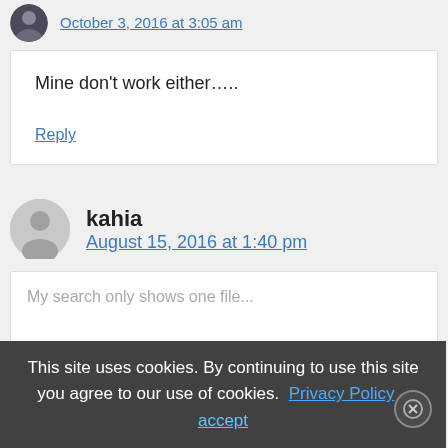October 3, 2016 at 3:05 am
Mine don't work either…..
Reply
kahia
August 15, 2016 at 1:40 pm
My search only shows one file...
This site uses cookies. By continuing to use this site you agree to our use of cookies. Privacy Policy   accept